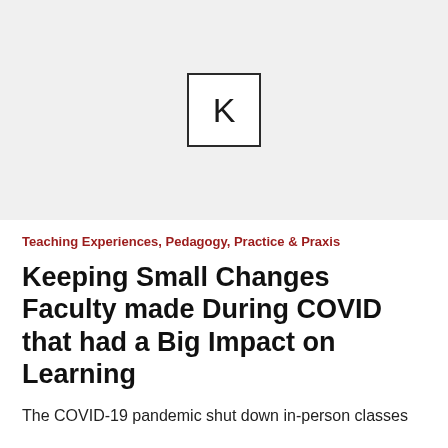[Figure (logo): Light gray placeholder image area with a centered white box containing the letter K in black sans-serif font, bordered by a dark square outline]
Teaching Experiences, Pedagogy, Practice & Praxis
Keeping Small Changes Faculty made During COVID that had a Big Impact on Learning
The COVID-19 pandemic shut down in-person classes